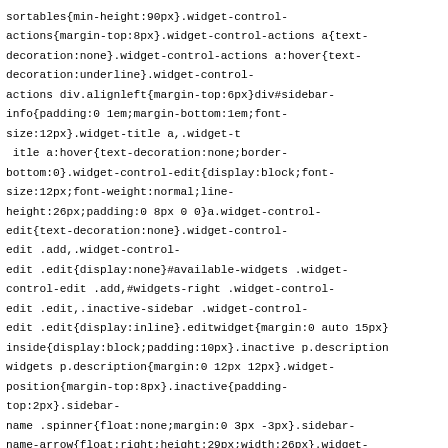sortables{min-height:90px}.widget-control-actions{margin-top:8px}.widget-control-actions a{text-decoration:none}.widget-control-actions a:hover{text-decoration:underline}.widget-control-actions div.alignleft{margin-top:6px}div#sidebar-info{padding:0 1em;margin-bottom:1em;font-size:12px}.widget-title a,.widget-title a:hover{text-decoration:none;border-bottom:0}.widget-control-edit{display:block;font-size:12px;font-weight:normal;line-height:26px;padding:0 8px 0 0}a.widget-control-edit{text-decoration:none}.widget-control-edit .add,.widget-control-edit .edit{display:none}#available-widgets .widget-control-edit .add,#widgets-right .widget-control-edit .edit,.inactive-sidebar .widget-control-edit .edit{display:inline}.editwidget{margin:0 auto 15px}inside{display:block;padding:10px}.inactive p.description widgets p.description{margin:0 12px 12px}.widget-position{margin-top:8px}.inactive{padding-top:2px}.sidebar-name .spinner{float:none;margin:0 3px -3px}.sidebar-name-arrow{float:right;height:29px;width:26px}.widget-title .in-widget-title{font-size:12px;white-space:nowrap}#removing-widget{display:none;font-weight:normal;padding-left:15px;font-size:12px;line-height:1}.widget-control-noform,#access-off,.widgets_access .widget-action,.widgets_access .sidebar-name-arrow,.widgets_access #access-on,.widgets_access .widget-